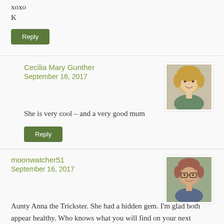xoxo
K
Reply
Cecilia Mary Gunther
September 16, 2017
[Figure (photo): Avatar photo of Cecilia Mary Gunther, a blonde woman smiling]
She is very cool – and a very good mum
Reply
moonwatcher51
September 16, 2017
[Figure (photo): Avatar photo of moonwatcher51, a woman with glasses]
Aunty Anna the Trickster. She had a hidden gem. I'm glad both appear healthy. Who knows what you will find on your next rambles? I